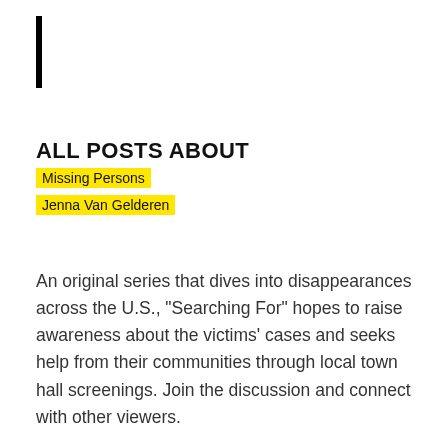ALL POSTS ABOUT
Missing Persons
Jenna Van Gelderen
An original series that dives into disappearances across the U.S., "Searching For" hopes to raise awareness about the victims' cases and seeks help from their communities through local town hall screenings. Join the discussion and connect with other viewers.